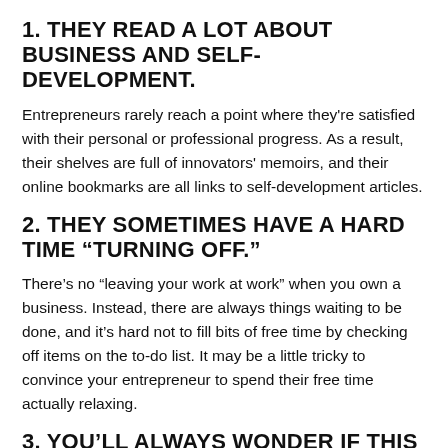1. THEY READ A LOT ABOUT BUSINESS AND SELF-DEVELOPMENT.
Entrepreneurs rarely reach a point where they're satisfied with their personal or professional progress. As a result, their shelves are full of innovators' memoirs, and their online bookmarks are all links to self-development articles.
2. THEY SOMETIMES HAVE A HARD TIME “TURNING OFF.”
There’s no “leaving your work at work” when you own a business. Instead, there are always things waiting to be done, and it’s hard not to fill bits of free time by checking off items on the to-do list. It may be a little tricky to convince your entrepreneur to spend their free time actually relaxing.
3. YOU’LL ALWAYS WONDER IF THIS IS THE RIGHT CHOICE.